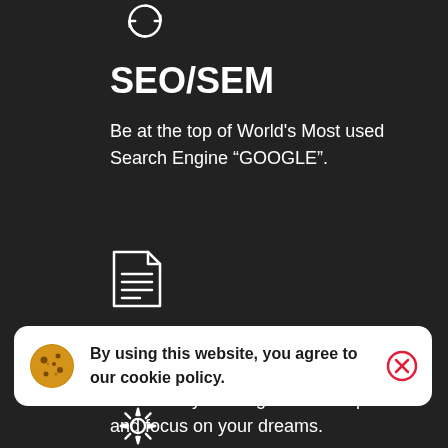[Figure (illustration): Circular arrow/refresh icon at top, partially visible]
SEO/SEM
Be at the top of World's Most used Search Engine “GOOGLE”.
[Figure (illustration): Document/notepad icon with lines representing text]
Legal Services
Don’t worry about government process and focus on your dreams.
By using this website, you agree to our cookie policy.
[Figure (illustration): Gear/settings icon at bottom, partially visible]